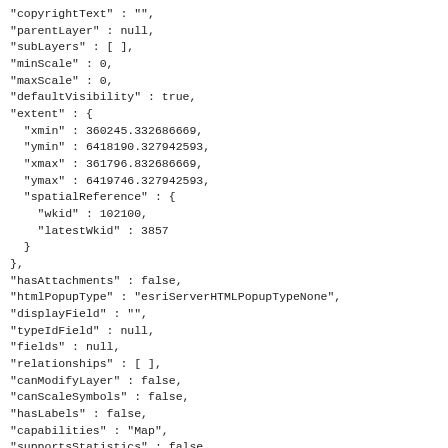"copyrightText" : "",
"parentLayer" : null,
"subLayers" : [ ],
"minScale" : 0,
"maxScale" : 0,
"defaultVisibility" : true,
"extent" : {
  "xmin" : 360245.332686669,
  "ymin" : 6418190.327942593,
  "xmax" : 361796.832686669,
  "ymax" : 6419746.327942593,
  "spatialReference" : {
    "wkid" : 102100,
    "latestWkid" : 3857
  }
},
"hasAttachments" : false,
"htmlPopupType" : "esriServerHTMLPopupTypeNone",
"displayField" : "",
"typeIdField" : null,
"fields" : null,
"relationships" : [ ],
"canModifyLayer" : false,
"canScaleSymbols" : false,
"hasLabels" : false,
"capabilities" : "Map",
"supportsStatistics" : false,
"supportsAdvancedQueries" : false,
"supportedQueryFormats" : "JSON, AMF",
"ownershipBasedAccessControlForFeatures" : {
  "allowOthersToQuery" : true
},
"advancedQueryCapabilities" : {
  "useStandardizedQueries" : false,
  "supportsStatistics" : false,
  "supportsOrderBy" : false,
  "supportsDistinct" : false,
  "supportsPagination" : false,